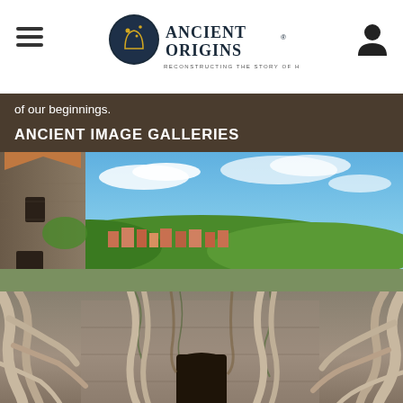Ancient Origins - Reconstructing the story of humanity's past
of our beginnings.
ANCIENT IMAGE GALLERIES
[Figure (photo): Panoramic photo of a medieval European town with a stone tower on the left, green trees and rooftops in the middle distance, and blue sky with white clouds above.]
[Figure (photo): Photo of an ancient temple ruin overgrown with large tree roots and branches, with a dark doorway visible in the center.]